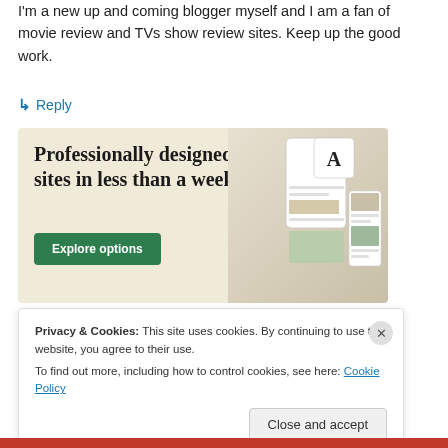I'm a new up and coming blogger myself and I am a fan of movie review and TVs show review sites. Keep up the good work.
↳ Reply
[Figure (advertisement): Advertisement banner with beige background. Text reads 'Professionally designed sites in less than a week' with a green 'Explore options' button and mockup images of websites on the right side.]
Privacy & Cookies: This site uses cookies. By continuing to use this website, you agree to their use.
To find out more, including how to control cookies, see here: Cookie Policy
Close and accept